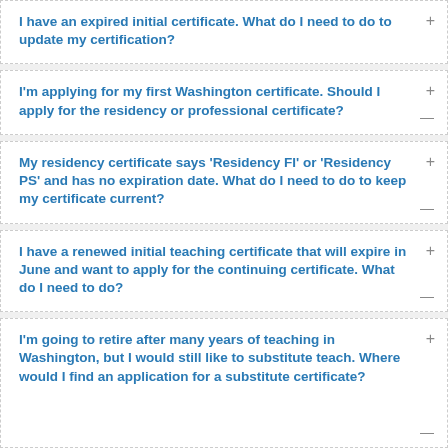I have an expired initial certificate. What do I need to do to update my certification?
I'm applying for my first Washington certificate. Should I apply for the residency or professional certificate?
My residency certificate says 'Residency FI' or 'Residency PS' and has no expiration date. What do I need to do to keep my certificate current?
I have a renewed initial teaching certificate that will expire in June and want to apply for the continuing certificate. What do I need to do?
I'm going to retire after many years of teaching in Washington, but I would still like to substitute teach. Where would I find an application for a substitute certificate?